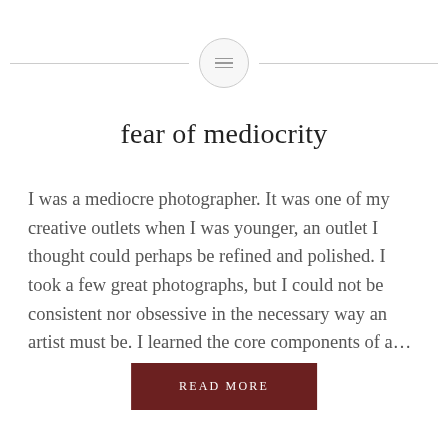fear of mediocrity
I was a mediocre photographer. It was one of my creative outlets when I was younger, an outlet I thought could perhaps be refined and polished. I took a few great photographs, but I could not be consistent nor obsessive in the necessary way an artist must be. I learned the core components of a...
READ MORE